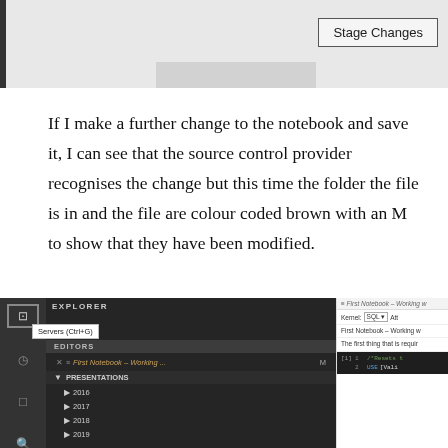[Figure (screenshot): Screenshot showing a 'Stage Changes' button in top right corner of a source control UI]
If I make a further change to the notebook and save it, I can see that the source control provider recognises the change but this time the folder the file is in and the file are colour coded brown with an M to show that they have been modified.
[Figure (screenshot): Screenshot of Azure Data Studio showing a file explorer with PRESENTATIONS folder containing years 2016-2019, an open notebook 'First Notebook - Working...' marked with M for modified, and a right panel showing kernel SQL and code with /*Resets and USE [Vali...]